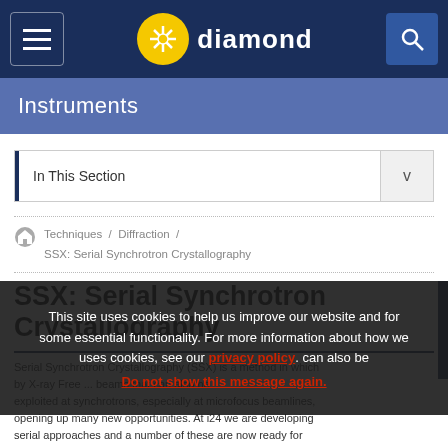diamond — navigation header with menu and search icons
Instruments
In This Section
Techniques / Diffraction / SSX: Serial Synchrotron Crystallography
SSX: Serial Synchrotron Crystallography
Serial Synchrotron Crystallography (SSX) ... by X-ray Free ... can also be exploited at synchrotrons, especially at microfocus beamlines, opening up many new opportunities. At i24 we are developing serial approaches and a number of these are now ready for
This site uses cookies to help us improve our website and for some essential functionality. For more information about how we uses cookies, see our privacy policy. Do not show this message again.